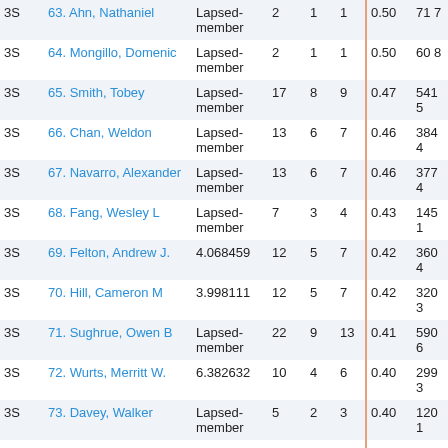|  | Name | Membership |  |  |  |  |  |
| --- | --- | --- | --- | --- | --- | --- | --- |
| 3S | 63. Ahn, Nathaniel | Lapsed-member | 2 | 1 | 1 | 0.50 | 71 7 |
| 3S | 64. Mongillo, Domenic | Lapsed-member | 2 | 1 | 1 | 0.50 | 60 8 |
| 3S | 65. Smith, Tobey | Lapsed-member | 17 | 8 | 9 | 0.47 | 541 5 |
| 3S | 66. Chan, Weldon | Lapsed-member | 13 | 6 | 7 | 0.46 | 384 4 |
| 3S | 67. Navarro, Alexander | Lapsed-member | 13 | 6 | 7 | 0.46 | 377 4 |
| 3S | 68. Fang, Wesley L | Lapsed-member | 7 | 3 | 4 | 0.43 | 145 1 |
| 3S | 69. Felton, Andrew J. | 4.068459 | 12 | 5 | 7 | 0.42 | 360 4 |
| 3S | 70. Hill, Cameron M | 3.998111 | 12 | 5 | 7 | 0.42 | 320 3 |
| 3S | 71. Sughrue, Owen B | Lapsed-member | 22 | 9 | 13 | 0.41 | 590 6 |
| 3S | 72. Wurts, Merritt W. | 6.382632 | 10 | 4 | 6 | 0.40 | 299 3 |
| 3S | 73. Davey, Walker | Lapsed-member | 5 | 2 | 3 | 0.40 | 120 1 |
| 3S | 74. Starr, Ari | Lapsed- | 16 | 6 | 10 | 0.38 | 378 3 |